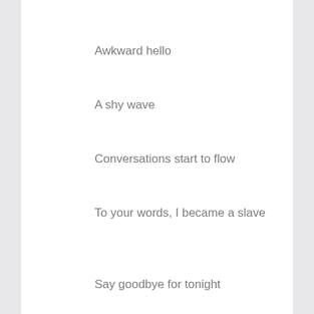Awkward hello
A shy wave
Conversations start to flow
To your words, I became a slave
Say goodbye for tonight
“Be here next week if you can”